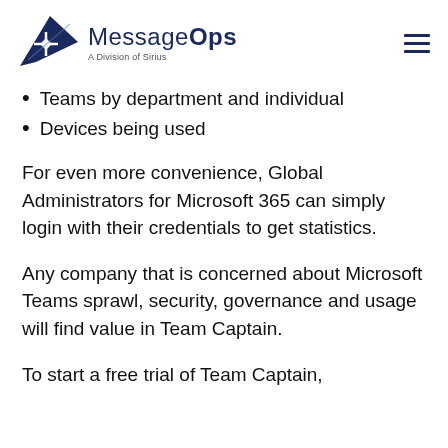MessageOps — A Division of Sirius
Teams by department and individual
Devices being used
For even more convenience, Global Administrators for Microsoft 365 can simply login with their credentials to get statistics.
Any company that is concerned about Microsoft Teams sprawl, security, governance and usage will find value in Team Captain.
To start a free trial of Team Captain,